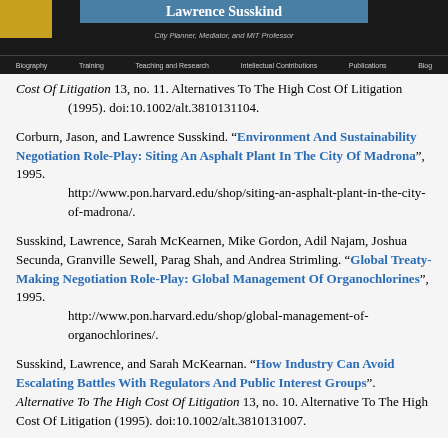Lawrence Susskind | City Planner, Mediator, and MIT Professor | Biography | Training | Teaching and Research | Intellectual Contributions | Publications | Blog
Cost Of Litigation 13, no. 11. Alternatives To The High Cost Of Litigation (1995). doi:10.1002/alt.3810131104.
Corburn, Jason, and Lawrence Susskind. "Environment And Sustainability Negotiation Role-Play: Siting An Asphalt Plant In The City Of Madrona", 1995. http://www.pon.harvard.edu/shop/siting-an-asphalt-plant-in-the-city-of-madrona/.
Susskind, Lawrence, Sarah McKearnen, Mike Gordon, Adil Najam, Joshua Secunda, Granville Sewell, Parag Shah, and Andrea Strimling. "Global Treaty-Making Negotiation Role-Play: Global Management Of Organochlorines", 1995. http://www.pon.harvard.edu/shop/global-management-of-organochlorines/.
Susskind, Lawrence, and Sarah McKearnan. "How Industry Can Avoid Escalating Battles With Regulators And Public Interest Groups". Alternative To The High Cost Of Litigation 13, no. 10. Alternative To The High Cost Of Litigation (1995). doi:10.1002/alt.3810131007.